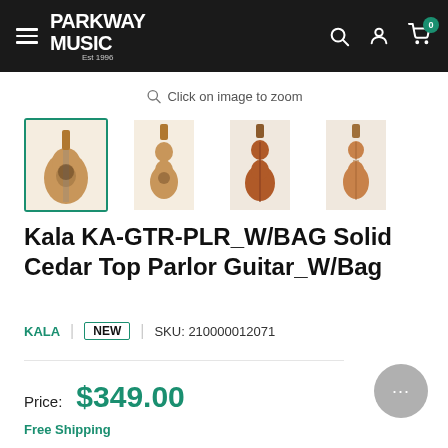Parkway Music — Est 1996
Click on image to zoom
[Figure (photo): Four thumbnail images of the Kala KA-GTR-PLR_W/BAG Solid Cedar Top Parlor Guitar from different angles (front, full front, back, side/back). The first thumbnail has an active green border.]
Kala KA-GTR-PLR_W/BAG Solid Cedar Top Parlor Guitar_W/Bag
KALA  |  NEW  |  SKU: 210000012071
Price:  $349.00
Free Shipping